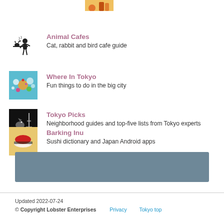[Figure (illustration): Partially visible icon at top (colorful drinks/food illustration, cropped)]
Animal Cafes
Cat, rabbit and bird cafe guide
Where In Tokyo
Fun things to do in the big city
Tokyo Picks
Neighborhood guides and top-five lists from Tokyo experts
Barking Inu
Sushi dictionary and Japan Android apps
[Figure (illustration): Gray/blue banner bar]
Updated 2022-07-24
© Copyright Lobster Enterprises   Privacy   Tokyo top